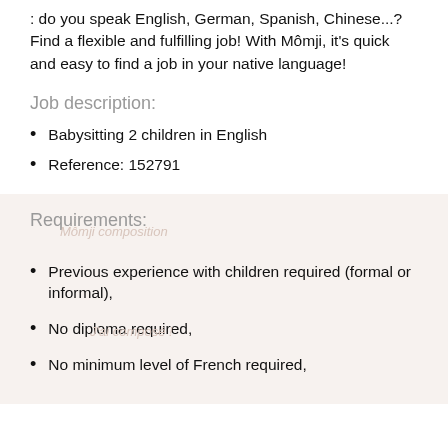: do you speak English, German, Spanish, Chinese...? Find a flexible and fulfilling job! With Môm ji, it's quick and easy to find a job in your native language!
Job description:
Babysitting 2 children in English
Reference: 152791
Requirements:
Previous experience with children required (formal or informal),
No diploma required,
No minimum level of French required,